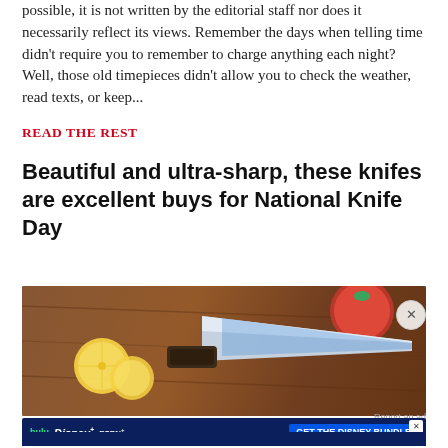possible, it is not written by the editorial staff nor does it necessarily reflect its views. Remember the days when telling time didn't require you to remember to charge anything each night? Well, those old timepieces didn't allow you to check the weather, read texts, or keep...
READ THE REST
Beautiful and ultra-sharp, these knifes are excellent buys for National Knife Day
[Figure (photo): Close-up photo of knives on a wooden cutting board with lemon slices and tomatoes]
[Figure (screenshot): Disney Bundle advertisement showing Hulu, Disney+, ESPN+ logos with 'GET THE DISNEY BUNDLE' button and fine print about Hulu ad-supported service]